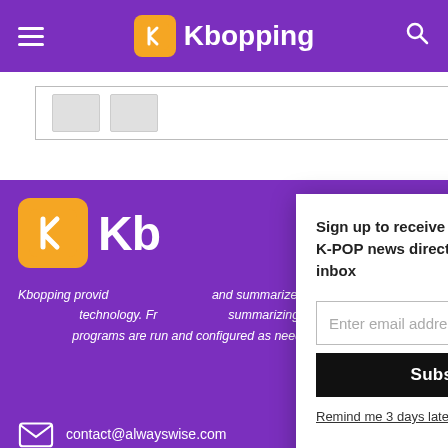Kbopping - navigation bar
[Figure (screenshot): Partial white content area with image placeholder thumbnails]
[Figure (screenshot): Popup modal: Sign up to receive most interesting K-POP news directly into your inbox, with email input and Subscribe button]
Kbopping provides and summarizes technology. From summarizing and programs are run and configured as needed.
contact@alwayswise.com